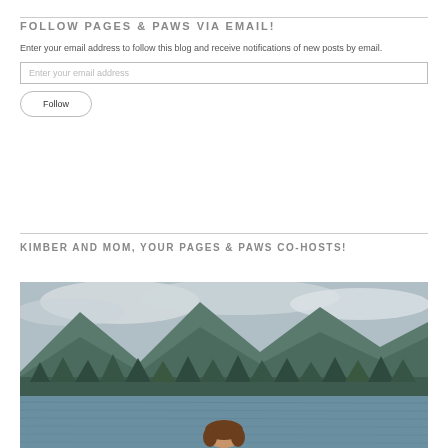FOLLOW PAGES & PAWS VIA EMAIL!
Enter your email address to follow this blog and receive notifications of new posts by email.
KIMBER AND MOM, YOUR PAGES & PAWS CO-HOSTS!
[Figure (photo): Outdoor photo of a woman standing near a lake with mountains and trees in the background under a cloudy sky.]